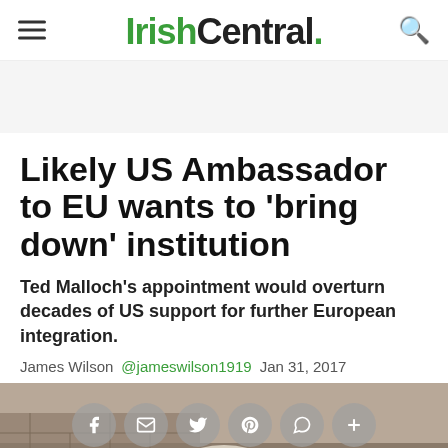IrishCentral.
Likely US Ambassador to EU wants to 'bring down' institution
Ted Malloch's appointment would overturn decades of US support for further European integration.
James Wilson @jameswilson1919 Jan 31, 2017
[Figure (photo): Top portion of a person's head visible at bottom of image, with social sharing buttons overlaid on image background and a dark strip at bottom. Orange chat button in lower right.]